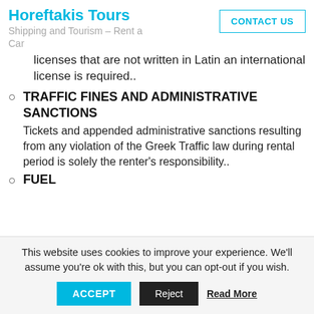Horeftakis Tours | Shipping and Tourism – Rent a Car | CONTACT US
licenses that are not written in Latin an international license is required..
TRAFFIC FINES AND ADMINISTRATIVE SANCTIONS
Tickets and appended administrative sanctions resulting from any violation of the Greek Traffic law during rental period is solely the renter's responsibility..
FUEL
This website uses cookies to improve your experience. We'll assume you're ok with this, but you can opt-out if you wish.
ACCEPT | Reject | Read More